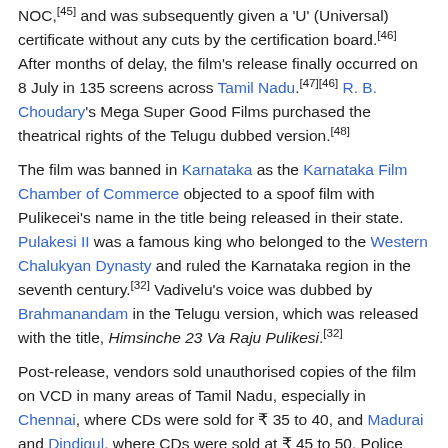NOC,[45] and was subsequently given a 'U' (Universal) certificate without any cuts by the certification board.[46] After months of delay, the film's release finally occurred on 8 July in 135 screens across Tamil Nadu.[47][46] R. B. Choudary's Mega Super Good Films purchased the theatrical rights of the Telugu dubbed version.[48]
The film was banned in Karnataka as the Karnataka Film Chamber of Commerce objected to a spoof film with Pulikecei's name in the title being released in their state. Pulakesi II was a famous king who belonged to the Western Chalukyan Dynasty and ruled the Karnataka region in the seventh century.[32] Vadivelu's voice was dubbed by Brahmanandam in the Telugu version, which was released with the title, Himsinche 23 Va Raju Pulikesi.[32]
Post-release, vendors sold unauthorised copies of the film on VCD in many areas of Tamil Nadu, especially in Chennai, where CDs were sold for ₹ 35 to 40, and Madurai and Dindigul, where CDs were sold at ₹ 45 to 50. Police conducted raids in the Avadi and Ambattur areas of Chennai where they seized 6636 VCDs.[49] Although infringement helped increase the film's popularity, its theatrical run at the box office was still a financial success.[50]